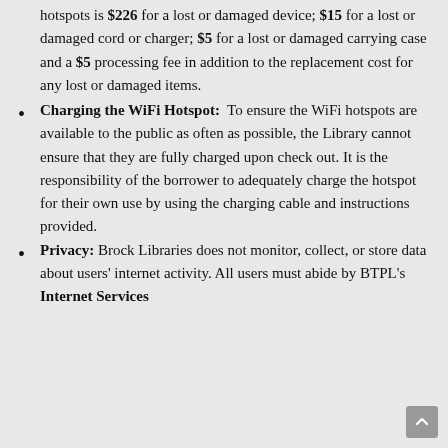hotspots is $226 for a lost or damaged device; $15 for a lost or damaged cord or charger; $5 for a lost or damaged carrying case and a $5 processing fee in addition to the replacement cost for any lost or damaged items.
Charging the WiFi Hotspot: To ensure the WiFi hotspots are available to the public as often as possible, the Library cannot ensure that they are fully charged upon check out. It is the responsibility of the borrower to adequately charge the hotspot for their own use by using the charging cable and instructions provided.
Privacy: Brock Libraries does not monitor, collect, or store data about users' internet activity. All users must abide by BTPL's Internet Services